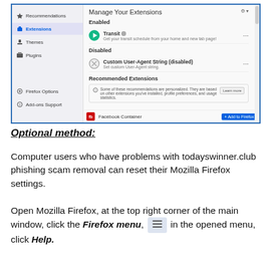[Figure (screenshot): Firefox browser Extensions settings page showing Manage Your Extensions panel with Enabled section (Transit extension), Disabled section (Custom User-Agent String), and Recommended Extensions section with Facebook Container.]
Optional method:
Computer users who have problems with todayswinner.club phishing scam removal can reset their Mozilla Firefox settings.
Open Mozilla Firefox, at the top right corner of the main window, click the Firefox menu, [menu icon] in the opened menu, click Help.